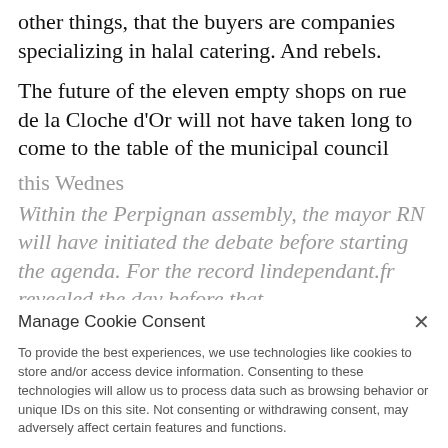other things, that the buyers are companies specializing in halal catering. And rebels.
The future of the eleven empty shops on rue de la Cloche d’Or will not have taken long to come to the table of the municipal council
this Wednes
Within the Perpignan assembly, the mayor RN will have initiated the debate before starting the agenda. For the record lindependant.fr revealed the day before that
the eleven businesses that had been purchased by the entrepreneur Abi-Nader
Chukri in October 2020 in order to create a gourmet artery were sold. The buyer would be a group of investors, represented by a spokesperson. “This is quite a serious
[Figure (screenshot): Manage Cookie Consent dialog overlay with Accept and Deny buttons, cookie policy text, and footer links to DMCA, Cookie Policy, Privacy Policy]